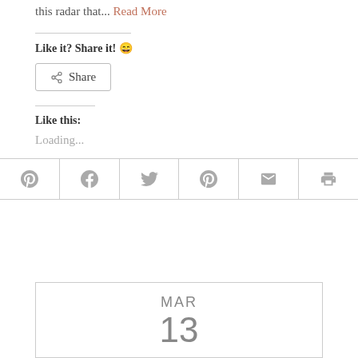this radar that... Read More
Like it? Share it! 😄
Share
Like this:
Loading...
[Figure (infographic): Social sharing icon bar with Pinterest, Facebook, Twitter, Google+, Email, and Print icons]
MAR
13